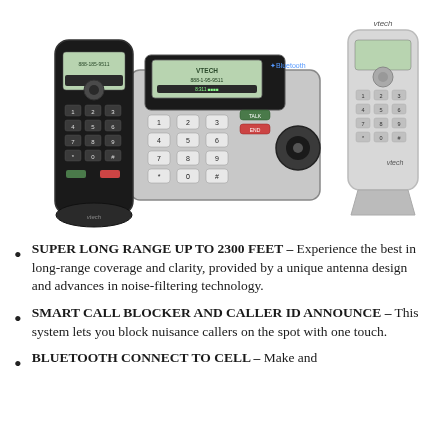[Figure (photo): VTech cordless phone system showing a base unit with keypad and display screen showing VTECH 888-1-95-9511, two cordless handsets with numeric keypads and displays, all in black and silver, with VTech branding visible on the base and handsets.]
SUPER LONG RANGE UP TO 2300 FEET – Experience the best in long-range coverage and clarity, provided by a unique antenna design and advances in noise-filtering technology.
SMART CALL BLOCKER AND CALLER ID ANNOUNCE – This system lets you block nuisance callers on the spot with one touch.
BLUETOOTH CONNECT TO CELL – Make and